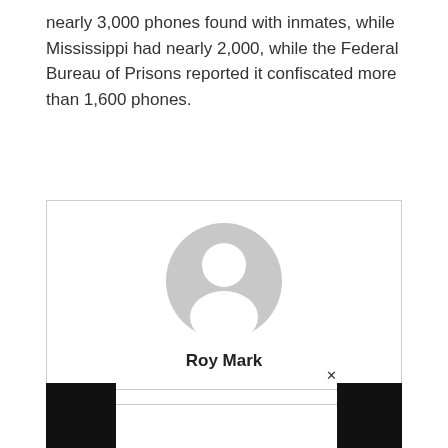nearly 3,000 phones found with inmates, while Mississippi had nearly 2,000, while the Federal Bureau of Prisons reported it confiscated more than 1,600 phones.
[Figure (illustration): A generic user/person placeholder avatar icon — a grey silhouette of a person (head and shoulders) on a white background, inside a bordered card. Below the icon is the name 'Roy Mark' in bold.]
[Figure (other): Bottom advertisement or UI bar — two black rectangles at bottom-left and bottom-right corners, with an 'x' close button near the top-right of the bar.]